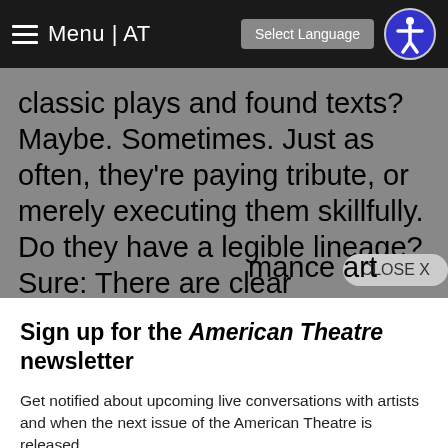Menu | AT  Select Language
classic plays and found texts? Maybe. Sometimes. Just as often, they're paying tribute, or merely executing them skillfully. Do they have a legible lineage? Sure: There are clear antecedents in Noh theater, Beijing opera, vaudeville, New York visual and performance art
Sign up for the American Theatre newsletter
Get notified about upcoming live conversations with artists and when the next issue of the American Theatre is released.
Sign up